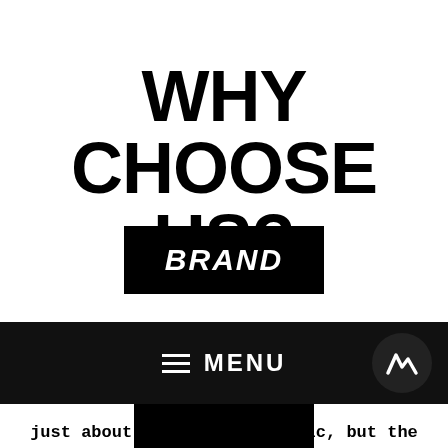WHY CHOOSE US?
[Figure (logo): Black rectangular logo with white bold italic text reading BRAND]
Our brand seeks to use clothing as a means to stir one's affections for God. For us, it's not just about ink meeting fabric, but the message it communicates. May we live for His
≡ MENU